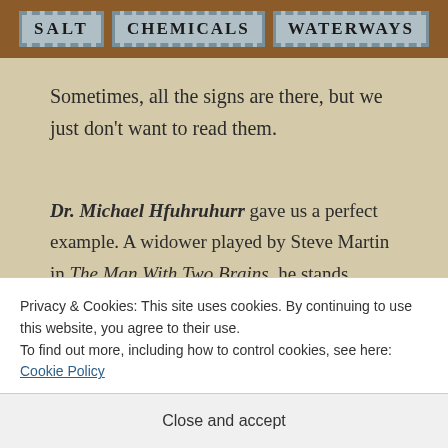[Figure (photo): Wooden signs with text SALT, CHEMICALS, WATERWAYS mounted on a brick/wooden background]
Sometimes, all the signs are there, but we just don't want to read them.
Dr. Michael Hfuhruhurr gave us a perfect example. A widower played by Steve Martin in The Man With Two Brains, he stands before his wife's portrait on finding his perfect second wife. If marrying her is not the right thing, he tells the picture, just give me a sign. Any sign.
Privacy & Cookies: This site uses cookies. By continuing to use this website, you agree to their use.
To find out more, including how to control cookies, see here: Cookie Policy
Close and accept